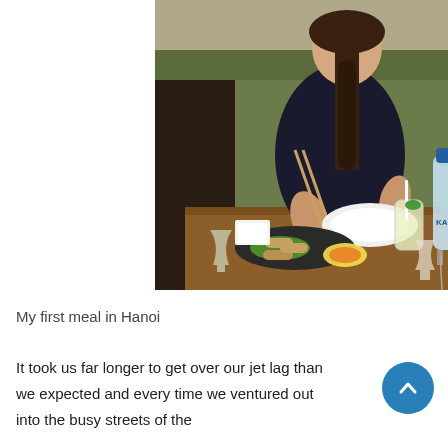[Figure (photo): A young woman with a dark braid sitting at a restaurant table in Hanoi, holding chopsticks over a plate of spring rolls with dipping sauce, a glass of lemonade with a straw and a water bottle visible on the table.]
My first meal in Hanoi
It took us far longer to get over our jet lag than we expected and every time we ventured out into the busy streets of the